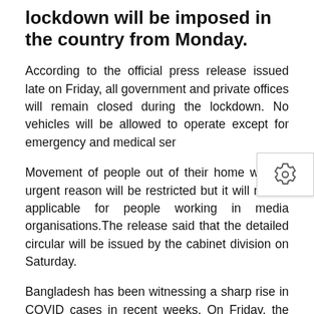lockdown will be imposed in the country from Monday.
According to the official press release issued late on Friday, all government and private offices will remain closed during the lockdown. No vehicles will be allowed to operate except for emergency and medical ser...
Movement of people out of their home without urgent reason will be restricted but it will not be applicable for people working in media organisations.The release said that the detailed circular will be issued by the cabinet division on Saturday.
Bangladesh has been witnessing a sharp rise in COVID cases in recent weeks. On Friday, the country reported 108 COVID 19 deaths which is the second highest number of deaths in a single day since the virus was first detected in March last year.